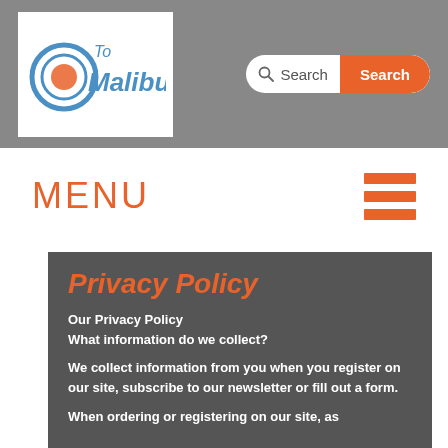To Malibu — Search
MENU
Privacy Policy
Our Privacy Policy
What information do we collect?
We collect information from you when you register on our site, subscribe to our newsletter or fill out a form.
When ordering or registering on our site, as